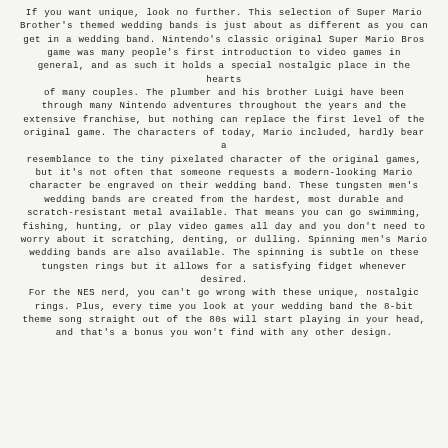If you want unique, look no further. This selection of Super Mario Brother's themed wedding bands is just about as different as you can get in a wedding band. Nintendo's classic original Super Mario Bros game was many people's first introduction to video games in general, and as such it holds a special nostalgic place in the hearts of many couples. The plumber and his brother Luigi have been through many Nintendo adventures throughout the years and the extensive franchise, but nothing can replace the first level of the original game. The characters of today, Mario included, hardly bear a resemblance to the tiny pixelated character of the original games, but it's not often that someone requests a modern-looking Mario character be engraved on their wedding band. These tungsten men's wedding bands are created from the hardest, most durable and scratch-resistant metal available. That means you can go swimming, fishing, hunting, or play video games all day and you don't need to worry about it scratching, denting, or dulling. Spinning men's Mario wedding bands are also available. The spinning is subtle on these tungsten rings but it allows for a satisfying fidget whenever desired. For the NES nerd, you can't go wrong with these unique, nostalgic rings. Plus, every time you look at your wedding band the 8-bit theme song straight out of the 80s will start playing in your head, and that's a bonus you won't find with any other design.